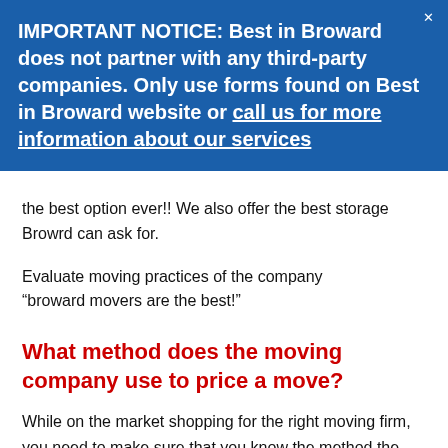IMPORTANT NOTICE: Best in Broward does not partner with any third-party companies. Only use forms found on Best in Broward website or call us for more information about our services
the best option ever!! We also offer the best storage Browrd can ask for.
Evaluate moving practices of the company
“broward movers are the best!”
What method does the moving company use to price a move?
While on the market shopping for the right moving firm, you need to make sure that you know the method the firm is using to